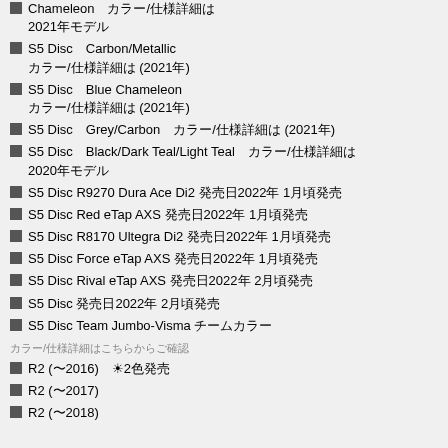Chameleon　カラー/仕様詳細は2021年モデル
S5 Disc　Carbon/Metallic　カラー/仕様詳細は (2021年)
S5 Disc　Blue Chameleon　カラー/仕様詳細は (2021年)
S5 Disc　Grey/Carbon　カラー/仕様詳細は (2021年)
S5 Disc　Black/Dark Teal/Light Teal　カラー/仕様詳細は2020年モデル
S5 Disc R9270 Dura Ace Di2 発売日2022年 1月頃発売
S5 Disc Red eTap AXS 発売日2022年 1月頃発売
S5 Disc R8170 Ultegra Di2 発売日2022年 1月頃発売
S5 Disc Force eTap AXS 発売日2022年 1月頃発売
S5 Disc Rival eTap AXS 発売日2022年 2月頃発売
S5 Disc 発売日2022年 2月頃発売
S5 Disc Team Jumbo-Visma チームカラー
カラー/仕様詳細はこちらからご確認
R2 (〜2016)　☀2色発売
R2 (〜2017)
R2 (〜2018)